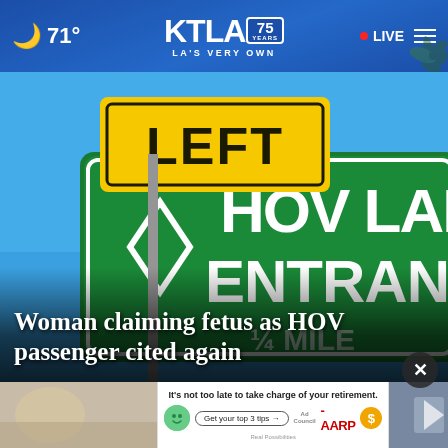🌙 71° | KTLA 75 YEARS — LA'S VERY OWN | • LIVE ☰
[Figure (photo): Highway sign showing 'LEFT' in yellow and 'HOV LAN ENTRANC 1/4 MILE' in white on green, against a blue sky background]
Woman claiming fetus as HOV passenger cited again
[Figure (screenshot): Bottom thumbnails and advertisement banner: It's not too late to take charge of your retirement. Get your top 3 tips → Ad Council AARP Real Possibilities with coin icon]